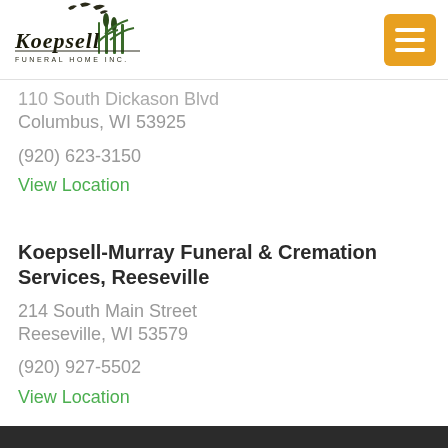[Figure (logo): Koepsell Funeral Home Inc. logo with birds and cattails silhouette in dark green/black, cursive text 'Koepsell' with 'FUNERAL HOME INC.' below]
110 South Dickason Blvd
Columbus, WI 53925
(920) 623-3150
View Location
Koepsell-Murray Funeral & Cremation Services, Reeseville
214 South Main Street
Reeseville, WI 53579
(920) 927-5502
View Location